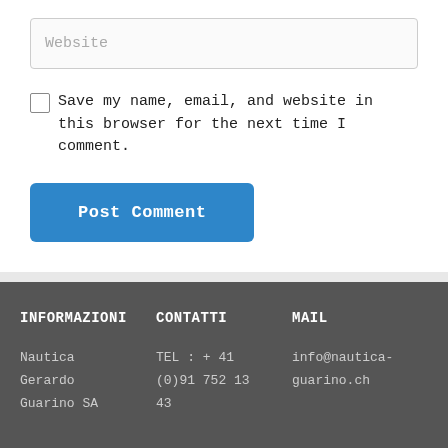Website
Save my name, email, and website in this browser for the next time I comment.
Post Comment
INFORMAZIONI
CONTATTI
MAIL
Nautica
Gerardo
Guarino SA
TEL : + 41
(0)91 752 13
43
info@nautica-guarino.ch